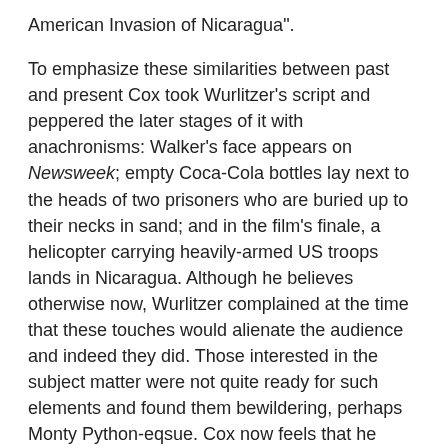American Invasion of Nicaragua".
To emphasize these similarities between past and present Cox took Wurlitzer's script and peppered the later stages of it with anachronisms: Walker's face appears on Newsweek; empty Coca-Cola bottles lay next to the heads of two prisoners who are buried up to their necks in sand; and in the film's finale, a helicopter carrying heavily-armed US troops lands in Nicaragua. Although he believes otherwise now, Wurlitzer complained at the time that these touches would alienate the audience and indeed they did. Those interested in the subject matter were not quite ready for such elements and found them bewildering, perhaps Monty Python-eqsue. Cox now feels that he should have introduced them at an earlier point in the film, so they would not have seemed so jarring to the audience. It could also be argued that introducing the anachronisms so late in the picture succeeds in adding to the sense of self-destruction.
While his later work, from the gritty, realistic El Patrullero to the surreal delights of Revengers Tragedy (2002) all contain the same zest for out-of-control anarchy as the earlier films, they